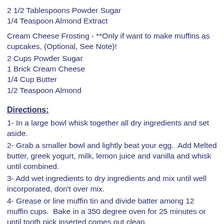2 1/2 Tablespoons Powder Sugar
1/4 Teaspoon Almond Extract
Cream Cheese Frosting - **Only if want to make muffins as cupcakes, (Optional, See Note)!
2 Cups Powder Sugar
1 Brick Cream Cheese
1/4 Cup Butter
1/2 Teaspoon Almond
Directions:
1- In a large bowl whisk together all dry ingredients and set aside.
2- Grab a smaller bowl and lightly beat your egg.  Add Melted butter, greek yogurt, milk, lemon juice and vanilla and whisk until combined.
3- Add wet ingredients to dry ingredients and mix until well incorporated, don't over mix.
4- Grease or line muffin tin and divide batter among 12 muffin cups.  Bake in a 350 degree oven for 25 minutes or until tooth pick inserted comes out clean.